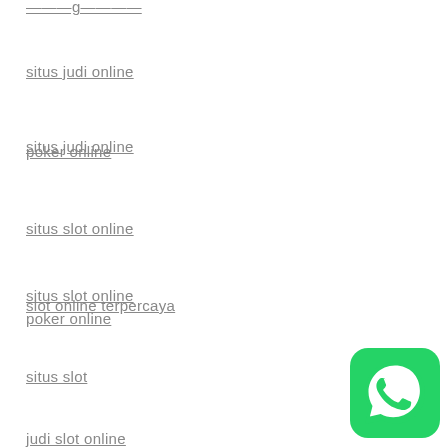situs judi online
poker online
situs slot online
slot online terpercaya
situs slot
judi slot online
[Figure (logo): WhatsApp icon — green rounded square with white phone handset logo]